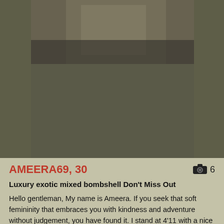[Figure (photo): Partial photo at top of listing card showing lower portion of a person]
AMEERA69, 30
Luxury exotic mixed bombshell Don't Miss Out
Hello gentleman, My name is Ameera. If you seek that soft femininity that embraces you with kindness and adventure without judgement, you have found it. I stand at 4'11 with a nice tight petite/curvy frame & legs that are sensually soft, silky brunette hair that drape down my back and intimate forest eyes that'll capture you for the entire night. My luscious lips will curl into a warm, ...
[Figure (photo): Partial photo at bottom of page showing beginning of another listing]